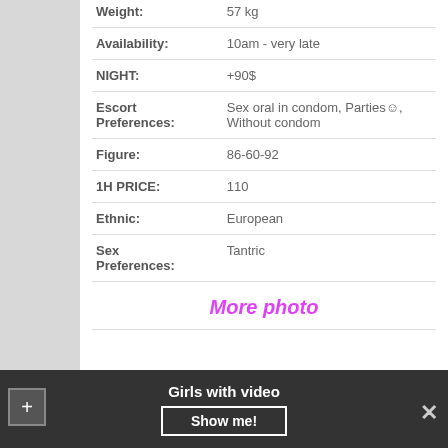| Field | Value |
| --- | --- |
| Weight: | 57 kg |
| Availability: | 10am - very late |
| NIGHT: | +90$ |
| Escort Preferences: | Sex oral in condom, Parties☺, Without condom |
| Figure: | 86-60-92 |
| 1H PRICE: | 110 |
| Ethnic: | European |
| Sex Preferences: | Tantric |
More photo
Girls with video  Show me!